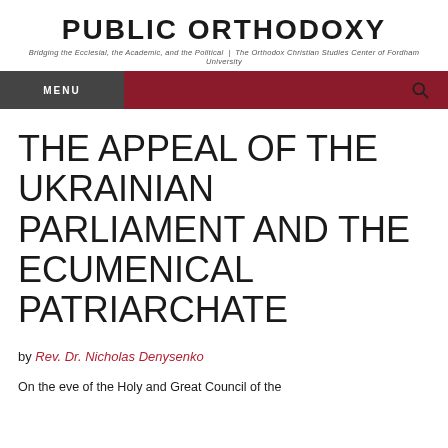PUBLIC ORTHODOXY
Bridging the Ecclesial, the Academic, and the Political | The Orthodox Christian Studies Center of Fordham University
THE APPEAL OF THE UKRAINIAN PARLIAMENT AND THE ECUMENICAL PATRIARCHATE
by Rev. Dr. Nicholas Denysenko
On the eve of the Holy and Great Council of the